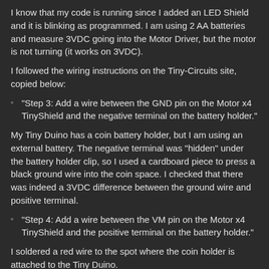I know that my code is running since I added an LED Shield and it is blinking as programmed. I am using 2 AA batteries and measure 3VDC going into the Motor Driver, but the motor is not turning (it works on 3VDC).
I followed the wiring instructions on the Tiny-Circuits site, copied below:
"Step 3: Add a wire between the GND pin on the Motor x4 TinyShield and the negative terminal on the battery holder."
My Tiny Duino has a coin battery holder, but I am using an external battery. The negative terminal was “hidden” under the battery holder clip, so I used a cardboard piece to press a black ground wire into the coin space. I checked that there was indeed a 3VDC difference between the ground wire and positive terminal.
"Step 4: Add a wire between the VM pin on the Motor x4 TinyShield and the positive terminal on the battery holder."
I soldered a red wire to the spot where the coin holder is attached to the Tiny Duino.
"Step 5: Add a wire between the positive connection on the battery holder and the ‘+’ hole on the TinyDuino processor Board. This will connect the VM and VCC power supplies together."
I soldered a red wire to the V on the Tiny Duino board...